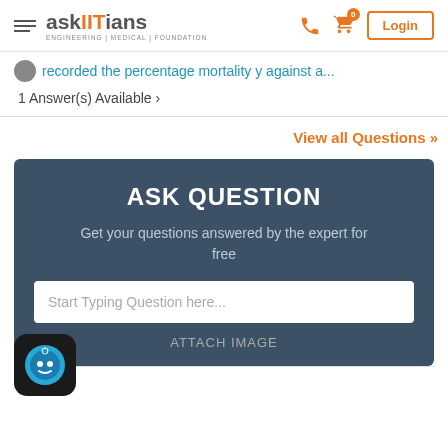askIITians - ENGINEERING | MEDICAL | FOUNDATION
recorded the percentage mortality y against a...
1 Answer(s) Available >
View all Questions »
ASK QUESTION
Get your questions answered by the expert for free
Start Typing Question here...
ATTACH IMAGE